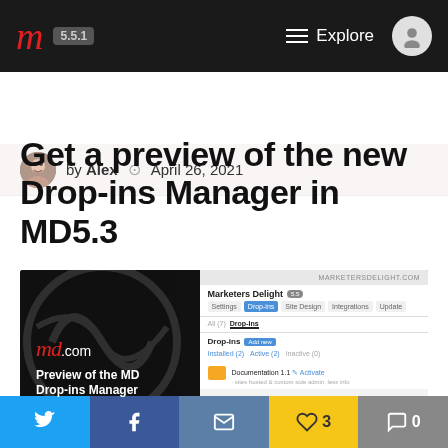m 5.5.1   ≡ Explore
by Alex  ⊙ April 26, 2021
Get a preview of the new Drop-ins Manager in MD5.3
[Figure (screenshot): Screenshot of the Marketers Delight Drop-ins Manager interface, showing settings tabs (Settings, Drop-ins, Site Design, Integrations, Update), Installed/Active/Inactive filter, and a Documentation 1.1 entry with Activate link.]
Twitter share  Facebook share  Email share  ♡ 3  💬 0